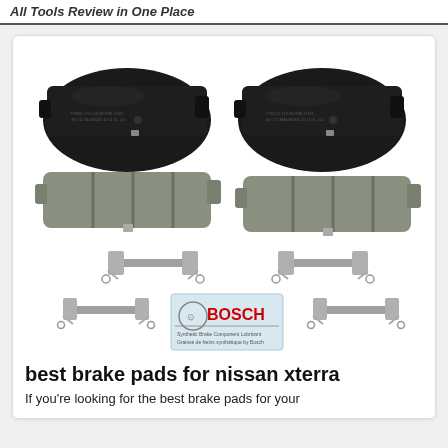All Tools Review in One Place
[Figure (photo): Bosch brake pads product photo showing four brake pads (two black metal backing plates on top, two grey friction material pads in middle) plus four metal hardware clips and a Bosch lubricant packet]
best brake pads for nissan xterra
If you're looking for the best brake pads for your